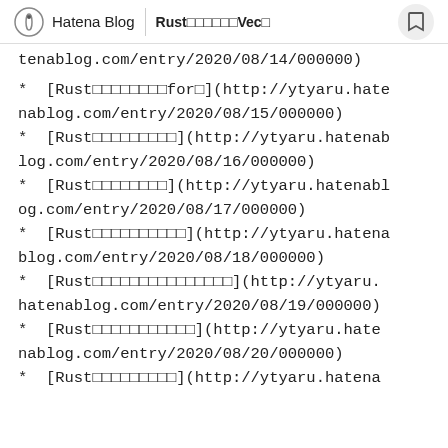Hatena Blog | Rust……Vec…
tenablog.com/entry/2020/08/14/000000)
* [Rust□□□□□□□□for□](http://ytyaru.hatenablog.com/entry/2020/08/15/000000)
* [Rust□□□□□□□□□](http://ytyaru.hatenablog.com/entry/2020/08/16/000000)
* [Rust□□□□□□□□](http://ytyaru.hatenablog.com/entry/2020/08/17/000000)
* [Rust□□□□□□□□□□](http://ytyaru.hatenablog.com/entry/2020/08/18/000000)
* [Rust□□□□□□□□□□□□□□□](http://ytyaru.hatenablog.com/entry/2020/08/19/000000)
* [Rust□□□□□□□□□□□](http://ytyaru.hatenablog.com/entry/2020/08/20/000000)
* [Rust□□□□□□□□□](http://ytyaru.hatena